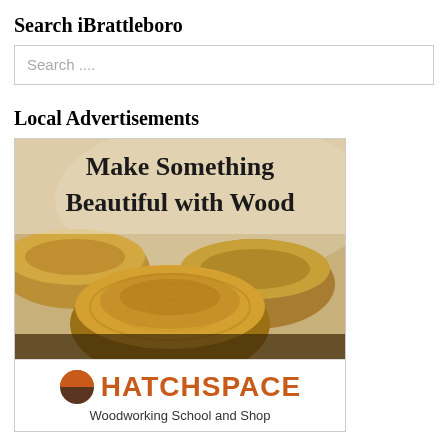Search iBrattleboro
Search....
Local Advertisements
[Figure (photo): Advertisement for HatchSpace Woodworking School and Shop showing wooden bowls with text 'Make Something Beautiful with Wood' and HatchSpace logo below]
Woodworking School and Shop